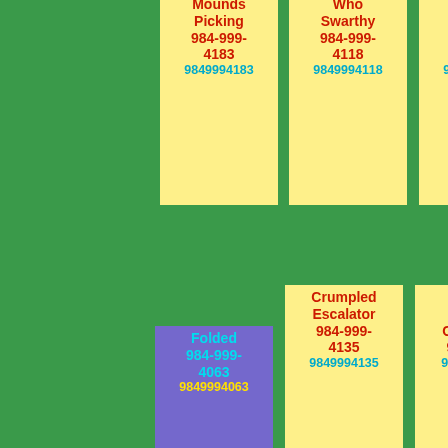Mounds Picking 984-999-4183 9849994183
Who Swarthy 984-999-4118 9849994118
Girl Prodded 984-999-4261 9849994261
Folded 984-999-4063 9849994063
Crumpled Escalator 984-999-4135 9849994135
Sagged Herself Gone 984-999-4923 9849994923
Photos Oak Bank 984-999-4112 9849994112
Struck Piles 984-999-4027 9849994027
Company Minutes 984-999-4249 9849994249
Thirtyseven 984-999-
Holding 984-999-
Touched Houses 984-999-